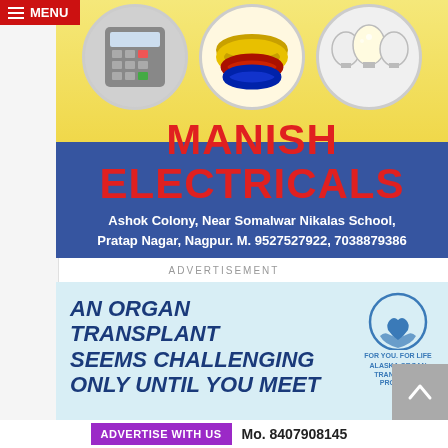MENU
[Figure (photo): Manish Electricals advertisement with product images (calculator, coloured wires, bulbs), brand name in red on yellow background, and address in blue bar]
ADVERTISEMENT
[Figure (photo): Alaska Organ Transplant Program advertisement: 'AN ORGAN TRANSPLANT SEEMS CHALLENGING ONLY UNTIL YOU MEET' with logo on light blue background]
ADVERTISE WITH US  Mo. 8407908145